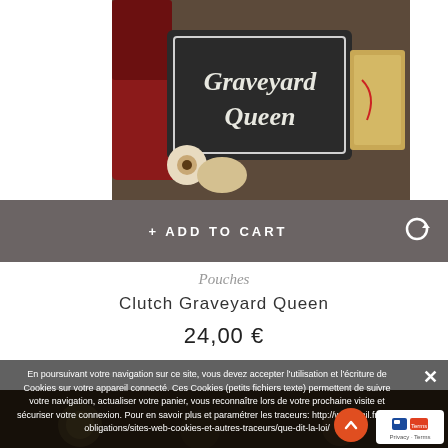[Figure (photo): Photo of a dark clutch/pouch with 'Graveyard Queen' text in decorative white lettering, surrounded by red fabric and other items]
+ ADD TO CART
Pouches
Clutch Graveyard Queen
24,00 €
En poursuivant votre navigation sur ce site, vous devez accepter l'utilisation et l'écriture de Cookies sur votre appareil connecté. Ces Cookies (petits fichiers texte) permettent de suivre votre navigation, actualiser votre panier, vous reconnaître lors de votre prochaine visite et sécuriser votre connexion. Pour en savoir plus et paramétrer les traceurs: http://www.cnil.fr/vos-obligations/sites-web-cookies-et-autres-traceurs/que-dit-la-loi/